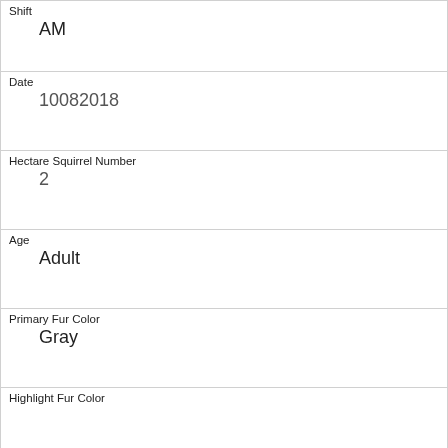Shift
AM
Date
10082018
Hectare Squirrel Number
2
Age
Adult
Primary Fur Color
Gray
Highlight Fur Color
Combination of Primary and Highlight Color
Gray+
Color notes
Location
Above Ground
Above Ground Sighter Measurement
3
Specific Location